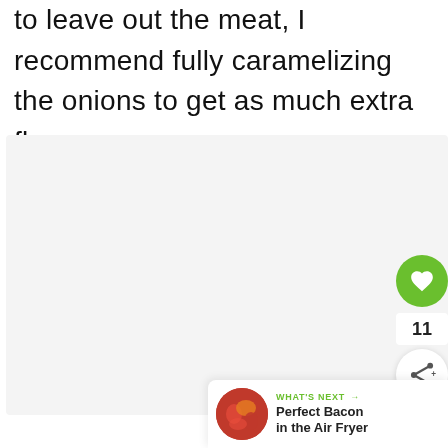to leave out the meat, I recommend fully caramelizing the onions to get as much extra flavor as you can.
[Figure (photo): Large light grey rectangular image placeholder area occupying the middle and lower portion of the page]
[Figure (infographic): Green circular heart/like button showing count of 11 and a share button below it on the right side]
WHAT'S NEXT → Perfect Bacon in the Air Fryer